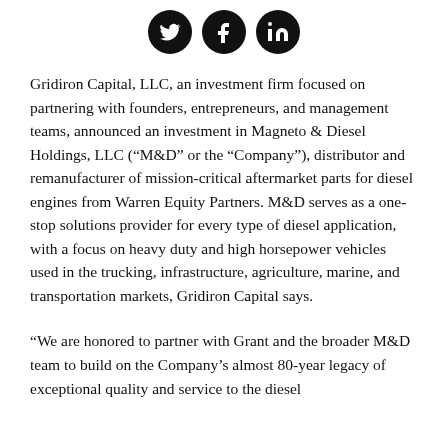[Figure (other): Three social media icon circles: Twitter bird icon, Facebook 'f' icon, and LinkedIn 'in' icon, all white on black circular backgrounds]
Gridiron Capital, LLC, an investment firm focused on partnering with founders, entrepreneurs, and management teams, announced an investment in Magneto & Diesel Holdings, LLC (“M&D” or the “Company”), distributor and remanufacturer of mission-critical aftermarket parts for diesel engines from Warren Equity Partners. M&D serves as a one-stop solutions provider for every type of diesel application, with a focus on heavy duty and high horsepower vehicles used in the trucking, infrastructure, agriculture, marine, and transportation markets, Gridiron Capital says.
“We are honored to partner with Grant and the broader M&D team to build on the Company’s almost 80-year legacy of exceptional quality and service to the diesel